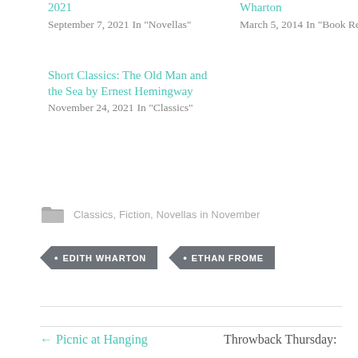2021
September 7, 2021
In "Novellas"
Wharton
March 5, 2014
In "Book Reviews"
Short Classics: The Old Man and the Sea by Ernest Hemingway
November 24, 2021
In "Classics"
Classics, Fiction, Novellas in November
• EDITH WHARTON
• ETHAN FROME
← Picnic at Hanging
Throwback Thursday: